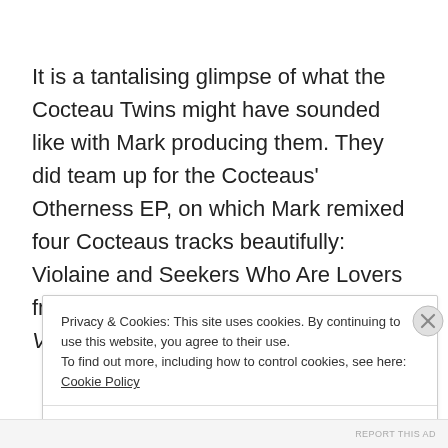It is a tantalising glimpse of what the Cocteau Twins might have sounded like with Mark producing them. They did team up for the Cocteaus' Otherness EP, on which Mark remixed four Cocteaus tracks beautifully: Violaine and Seekers Who Are Lovers from Milk & Kisses, Feet Like Fins from Victorialand, and Cherry C...
Privacy & Cookies: This site uses cookies. By continuing to use this website, you agree to their use. To find out more, including how to control cookies, see here: Cookie Policy
Close and accept